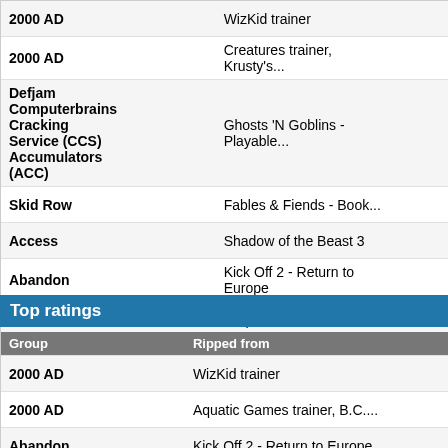| Group | Ripped from |  |  |
| --- | --- | --- | --- |
| 2000 AD | WizKid trainer | 855 | 😊 |
| 2000 AD | Creatures trainer, Krusty's... | 832 | 😊 |
| Defjam Computerbrains Cracking Service (CCS) Accumulators (ACC) | Ghosts 'N Goblins - Playable... | 770 | ● |
| Skid Row | Fables & Fiends - Book... | 746 | 😊 |
| Access | Shadow of the Beast 3 | 673 | 😊 |
| Abandon | Kick Off 2 - Return to Europe | 662 | 😊 |
| Access | Gulp +9 trainer | 648 | ● |
| Trilogy 7up Crew | Ganymed | 640 | 😊 |
Top ratings
| Group | Ripped from |  |
| --- | --- | --- |
| 2000 AD | WizKid trainer | 😊 |
| 2000 AD | Aquatic Games trainer, B.C.... | 😊 |
| Abandon | Kick Off 2 - Return to Europe | 😊 |
| Quartex | Dawn Patrol | 😊 |
| Skid Row | Fables & Fiends - Book... | 😊 |
| 2000 AD | Sim City Deluxe | 😊 |
| Abyss | Tomorrow / Virtual Dreams ++35 | 😊 |
| Group |  |
| --- | --- |
| Abakus | cl1 |
| Abakus | msx-cr |
| Abandon | - |
| Abnormal | mikael |
| Abnormal Data | vibehit |
| Absolute | the mu |
| Abuse | taffelch |
| Abuse | block_ |
| Abyss | classic |
| Access | monda |
| Access | daddy- |
| Access | psycho |
| Access | sanctif |
| Access | chariot |